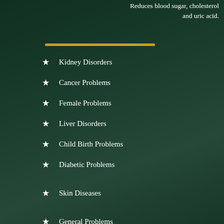Reduces blood sugar, cholesterol and uric acid.
Kidney Disorders
Cancer Problems
Female Problems
Liver Disorders
Child Birth Problems
Diabetic Problems
Skin Diseases
General Problems